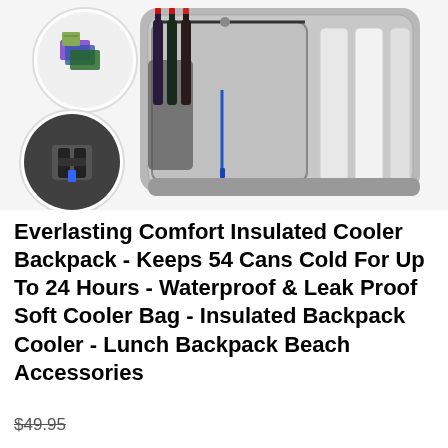[Figure (photo): Product photo of a gray insulated cooler backpack with white stripes on the front panel, wine bottles inserted in a side mesh pocket, and two circular inset images showing additional angles of the bag including a zipper pocket and the back strap system.]
Everlasting Comfort Insulated Cooler Backpack - Keeps 54 Cans Cold For Up To 24 Hours - Waterproof & Leak Proof Soft Cooler Bag - Insulated Backpack Cooler - Lunch Backpack Beach Accessories
$49.95